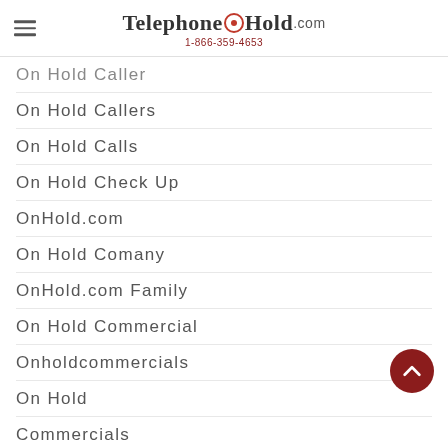TelephoneOnHold.com 1-866-359-4653
On Hold Caller
On Hold Callers
On Hold Calls
On Hold Check Up
OnHold.com
On Hold Comany
OnHold.com Family
On Hold Commercial
Onholdcommercials
On Hold
Commercials
On Hold
Communication